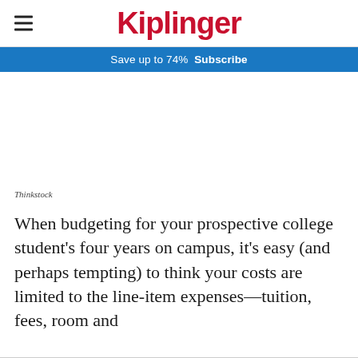Kiplinger
Save up to 74%  Subscribe
[Figure (photo): White/blank image area with Thinkstock photo credit]
Thinkstock
When budgeting for your prospective college student's four years on campus, it's easy (and perhaps tempting) to think your costs are limited to the line-item expenses—tuition, fees, room and